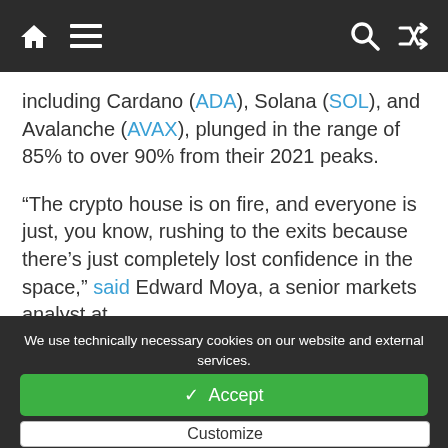[Navigation bar with home, menu, search, and shuffle icons]
including Cardano (ADA), Solana (SOL), and Avalanche (AVAX), plunged in the range of 85% to over 90% from their 2021 peaks.
“The crypto house is on fire, and everyone is just, you know, rushing to the exits because there’s just completely lost confidence in the space,” said Edward Moya, a senior markets analyst at
We use technically necessary cookies on our website and external services. By default, all services are disabled. You can turn or off each service if you need them or not. For more informations please read our privacy policy.